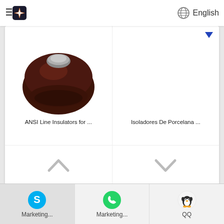English
[Figure (photo): ANSI Line Insulators for ... ceramic insulator disk product photo, dark brown/mahogany color, round disc shape viewed from above]
ANSI Line Insulators for ...
[Figure (photo): Isoladores De Porcelana ... product photo placeholder with blue dropdown arrow]
Isoladores De Porcelana ...
[Figure (photo): Dark brown ceramic insulator viewed from above/side, irregular shape, glossy surface]
Marketing... Marketing... QQ